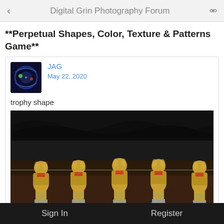Digital Grin Photography Forum
**Perpetual Shapes, Color, Texture & Patterns Game**
JAG
May 22, 2020
trophy shape
[Figure (photo): Five gold Oscar-style trophy statuettes lined up in a row on a dark surface, with a dark background above.]
Sign In    Register